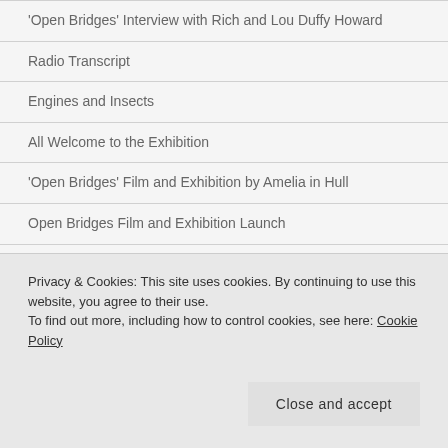'Open Bridges' Interview with Rich and Lou Duffy Howard
Radio Transcript
Engines and Insects
All Welcome to the Exhibition
'Open Bridges' Film and Exhibition by Amelia in Hull
Open Bridges Film and Exhibition Launch
Open Bridges Exhibition and Film
Shots from the Night Sky
Privacy & Cookies: This site uses cookies. By continuing to use this website, you agree to their use. To find out more, including how to control cookies, see here: Cookie Policy
Moments in Time by the Strandline